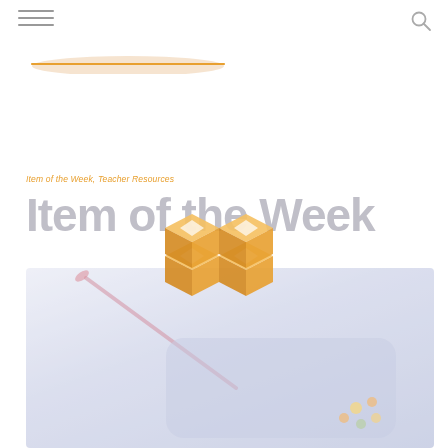Item of the Week, Teacher Resources
Item of the Week
[Figure (logo): 3D orange/tan cubic blocks logo arranged in a 2x2 grid with diamond shapes on faces]
[Figure (photo): Photo of a blue children's lunch box or tray with a paintbrush and flower decoration, faded/light overlay]